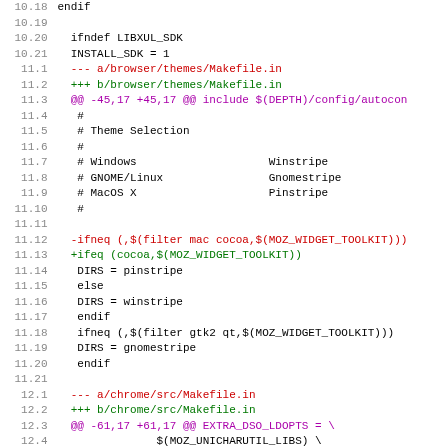Code diff showing changes to browser/themes/Makefile.in and chrome/src/Makefile.in
10.18 endif
10.19
10.20 ifndef LIBXUL_SDK
10.21 INSTALL_SDK = 1
11.1 --- a/browser/themes/Makefile.in
11.2 +++ b/browser/themes/Makefile.in
11.3 @@ -45,17 +45,17 @@ include $(DEPTH)/config/autocon
11.4  #
11.5  # Theme Selection
11.6  #
11.7  # Windows                    Winstripe
11.8  # GNOME/Linux                Gnomestripe
11.9  # MacOS X                    Pinstripe
11.10  #
11.11
11.12 -ifneq (,$(filter mac cocoa,$(MOZ_WIDGET_TOOLKIT)))
11.13 +ifeq (cocoa,$(MOZ_WIDGET_TOOLKIT))
11.14  DIRS = pinstripe
11.15  else
11.16  DIRS = winstripe
11.17  endif
11.18  ifneq (,$(filter gtk2 qt,$(MOZ_WIDGET_TOOLKIT)))
11.19  DIRS = gnomestripe
11.20  endif
11.21
12.1 --- a/chrome/src/Makefile.in
12.2 +++ b/chrome/src/Makefile.in
12.3 @@ -61,17 +61,17 @@ EXTRA_DSO_LDOPTS = \
12.4              $(MOZ_UNICHARUTIL_LIBS) \
12.5              $(MOZ_COMPONENT_LIBS) \
12.6              $(NULL)
12.7
12.8  ifneq (,$(filter gtk2 qt,$(MOZ_WIDGET_TOOLKIT)))